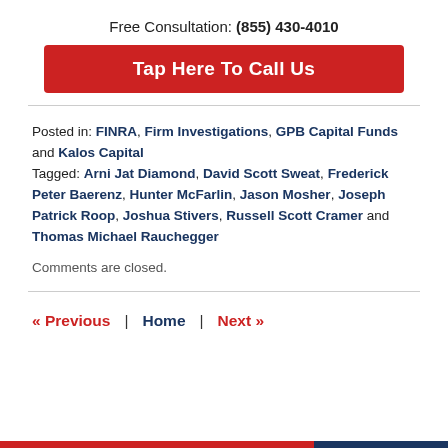Free Consultation: (855) 430-4010
Tap Here To Call Us
Posted in: FINRA, Firm Investigations, GPB Capital Funds and Kalos Capital
Tagged: Arni Jat Diamond, David Scott Sweat, Frederick Peter Baerenz, Hunter McFarlin, Jason Mosher, Joseph Patrick Roop, Joshua Stivers, Russell Scott Cramer and Thomas Michael Rauchegger
Comments are closed.
« Previous  |  Home  |  Next »